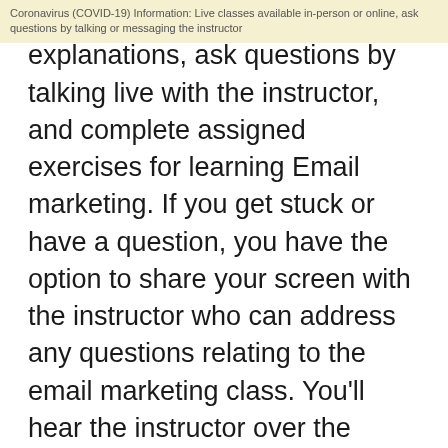Coronavirus (COVID-19) Information: Live classes available in-person or online, ask questions by talking or messaging the instructor
the instructor, hear concepts and explanations, ask questions by talking live with the instructor, and complete assigned exercises for learning Email marketing. If you get stuck or have a question, you have the option to share your screen with the instructor who can address any questions relating to the email marketing class. You'll hear the instructor over the headset / microphone we supply, and can communicate by talking or use the on-screen chat if you prefer. If you wish to attend Email marketing courses in a classroom, separate dates are offered for live in-person email marketing workshops.